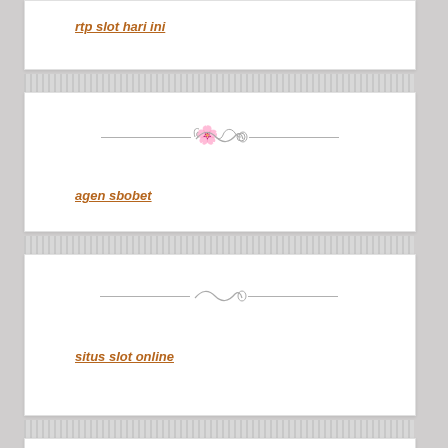rtp slot hari ini
agen sbobet
situs slot online